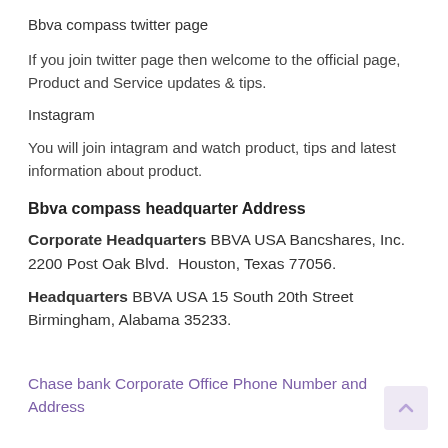Bbva compass twitter page
If you join twitter page then welcome to the official page, Product and Service updates & tips.
Instagram
You will join intagram and watch product, tips and latest information about product.
Bbva compass headquarter Address
Corporate Headquarters BBVA USA Bancshares, Inc. 2200 Post Oak Blvd.  Houston, Texas 77056.
Headquarters BBVA USA 15 South 20th Street Birmingham, Alabama 35233.
Chase bank Corporate Office Phone Number and Address